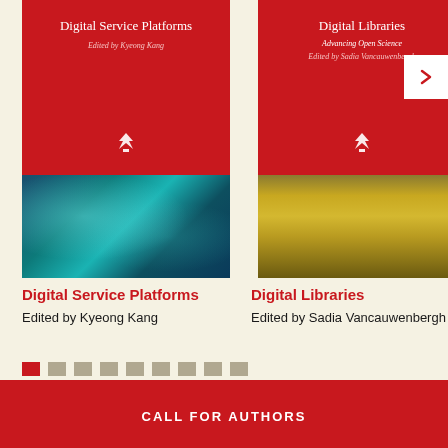[Figure (illustration): Book cover for 'Digital Service Platforms', edited by Kyeong Kang. Red top half with white title text and publisher logo, bottom half shows teal/blue digital light bokeh photograph.]
[Figure (illustration): Book cover for 'Digital Libraries: Advancing Open Science', edited by Sadia Vancauwenbergh. Red top half with white title text and publisher logo, bottom half shows golden wave pattern photograph.]
Digital Service Platforms
Edited by Kyeong Kang
Digital Libraries
Edited by Sadia Vancauwenbergh
CALL FOR AUTHORS